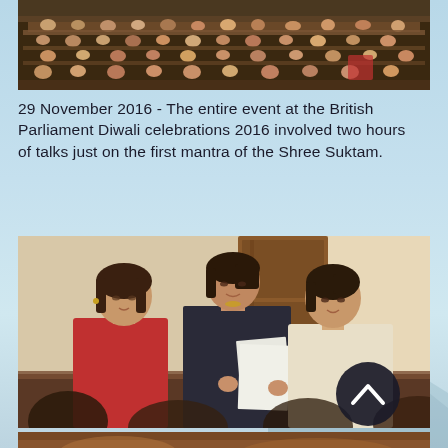[Figure (photo): Aerial/overhead view of a large auditorium or parliamentary chamber filled with seated attendees at rows of wooden desks]
29 November 2016 - The entire event at the British Parliament Diwali celebrations 2016 involved two hours of talks just on the first mantra of the Shree Suktam.
[Figure (photo): Three women at a formal event: one standing in the centre reading from papers, wearing a dark blazer, and two seated on either side — one in red on the left, one in light clothing on the right. A dark circular scroll-up button overlays the bottom-right of the image.]
[Figure (photo): Partial view of a third photo at the bottom, showing warm brown tones suggesting an indoor setting]